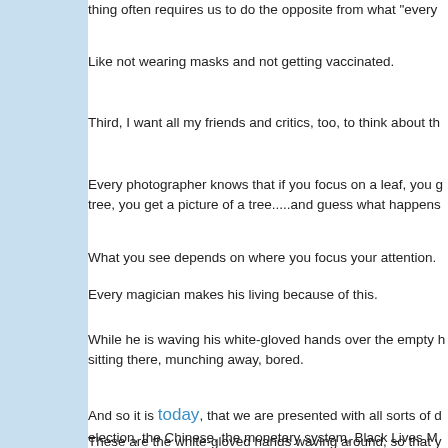thing often requires us to do the opposite from what "every
Like not wearing masks and not getting vaccinated.
Third, I want all my friends and critics, too, to think about th
Every photographer knows that if you focus on a leaf, you g tree, you get a picture of a tree.....and guess what happens
What you see depends on where you focus your attention.
Every magician makes his living because of this.
While he is waving his white-gloved hands over the empty h sitting there, munching away, bored.
And so it is today, that we are presented with all sorts of d election, the Chinese, the monetary system, Black Lives M on.
These are the white-gloved hands waving around, so that y
So, knowing that, turn away and look elsewhere.